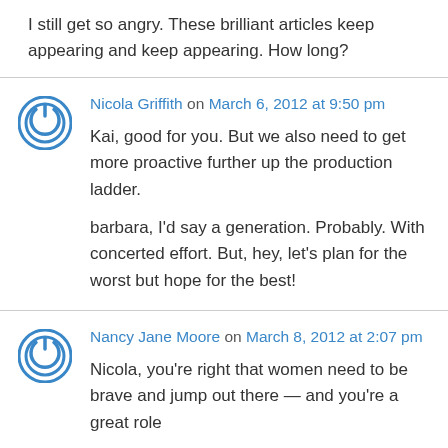I still get so angry. These brilliant articles keep appearing and keep appearing. How long?
Nicola Griffith on March 6, 2012 at 9:50 pm

Kai, good for you. But we also need to get more proactive further up the production ladder.

barbara, I'd say a generation. Probably. With concerted effort. But, hey, let's plan for the worst but hope for the best!
Nancy Jane Moore on March 8, 2012 at 2:07 pm

Nicola, you're right that women need to be brave and jump out there — and you're a great role